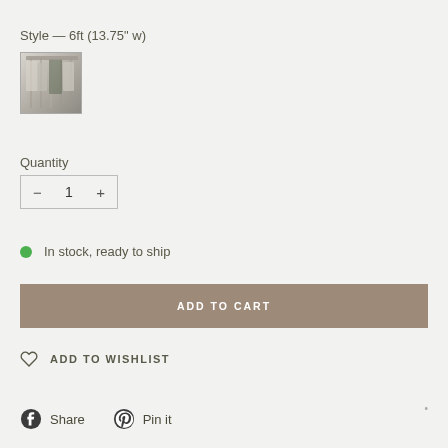Style — 6ft (13.75" w)
[Figure (photo): Small thumbnail photo of a product, appears to show hanging garments or a closet organizer with light/neutral tones]
Quantity
− 1 +
In stock, ready to ship
ADD TO CART
ADD TO WISHLIST
Share
Pin it